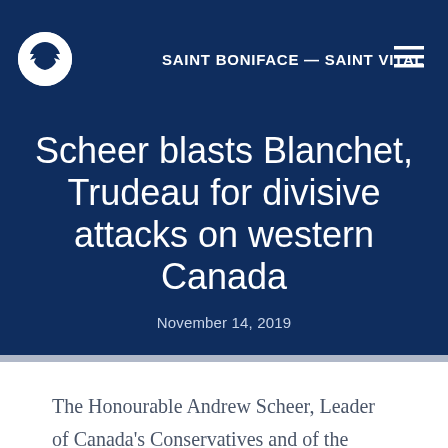SAINT BONIFACE — SAINT VITAL
Scheer blasts Blanchet, Trudeau for divisive attacks on western Canada
November 14, 2019
The Honourable Andrew Scheer, Leader of Canada's Conservatives and of the Official Opposition, issued a statement on Bloc